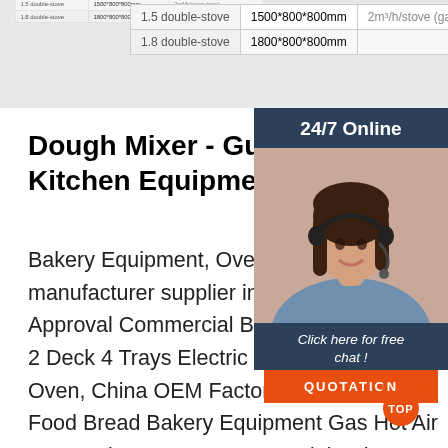|  |  | 2m³/h/stove (gas) |
| --- | --- | --- |
| 1.5 double-stove | 1500*800*800mm |  |
| 1.8 double-stove | 1800*800*800mm |  |
Dough Mixer - Guangzhou Ast Kitchen Equipment Co., Ltd ...
Bakery Equipment, Oven, Kitchen Equipment manufacturer supplier in China, offering Approval Commercial Bread Bakery Equipment 2 Deck 4 Trays Electric Baking Deck Oven, China OEM Factory 5 Trays Re Food Bread Bakery Equipment Gas Hot Air Convention Ovens, Commercial Bakery Equipment Dough Mixer, Bread Making Machine Flour Dough Mixer for Sale ...
[Figure (other): 24/7 Online chat widget with agent photo, 'Click here for free chat!' text, and orange QUOTATION button]
[Figure (other): Orange TOP scroll-to-top button with dot pattern]